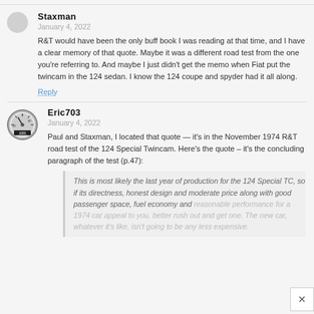Staxman
January 4, 2022
R&T would have been the only buff book I was reading at that time, and I have a clear memory of that quote. Maybe it was a different road test from the one you're referring to. And maybe I just didn't get the memo when Fiat put the twincam in the 124 sedan. I know the 124 coupe and spyder had it all along.
Reply
Eric703
January 4, 2022
Paul and Staxman, I located that quote — it's in the November 1974 R&T road test of the 124 Special Twincam. Here's the quote – it's the concluding paragraph of the test (p.47):
This is most likely the last year of production for the 124 Special TC, so if its directness, honest design and moderate price along with good passenger space, fuel economy and reasonable performance for a 1974 car appeal to you, better rush out and get one. The new car, whatever it's like, isn't going to be any less expensive.